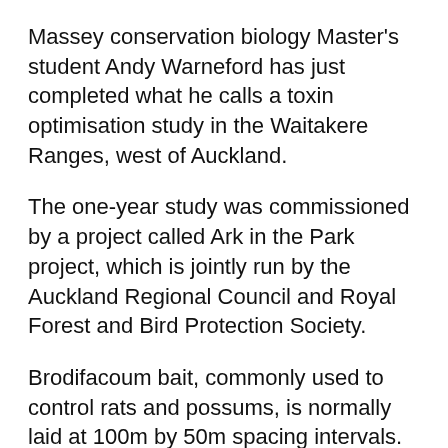Massey conservation biology Master's student Andy Warneford has just completed what he calls a toxin optimisation study in the Waitakere Ranges, west of Auckland.
The one-year study was commissioned by a project called Ark in the Park project, which is jointly run by the Auckland Regional Council and Royal Forest and Bird Protection Society.
Brodifacoum bait, commonly used to control rats and possums, is normally laid at 100m by 50m spacing intervals. Mr Warneford's trail was based on 100m by 100m intervals.
"What we are not clear about is whether we are possibly killing an ant with a hammer," he says. "We know that the home ranges of rats are typically in the order of something like that, so maybe that's the answer."